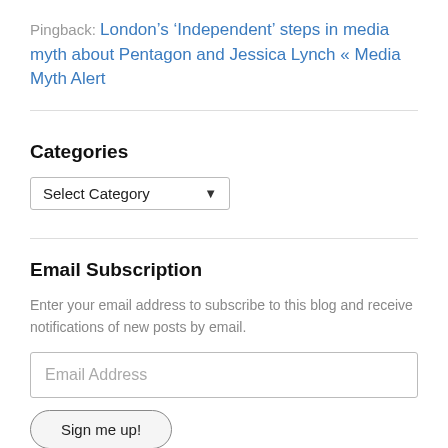Pingback: London's ‘Independent’ steps in media myth about Pentagon and Jessica Lynch « Media Myth Alert
Categories
[Figure (other): Select Category dropdown UI element]
Email Subscription
Enter your email address to subscribe to this blog and receive notifications of new posts by email.
[Figure (other): Email Address input field and Sign me up! button]